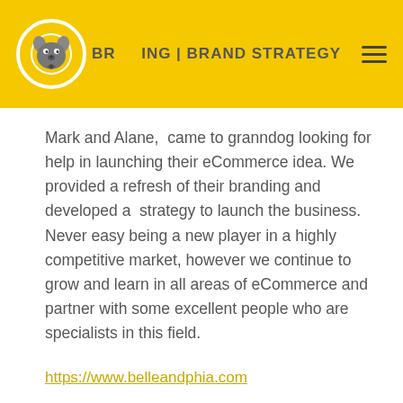BRANDING | BRAND STRATEGY
Mark and Alane,  came to granndog looking for help in launching their eCommerce idea. We provided a refresh of their branding and developed a  strategy to launch the business. Never easy being a new player in a highly competitive market, however we continue to grow and learn in all areas of eCommerce and partner with some excellent people who are specialists in this field.
https://www.belleandphia.com